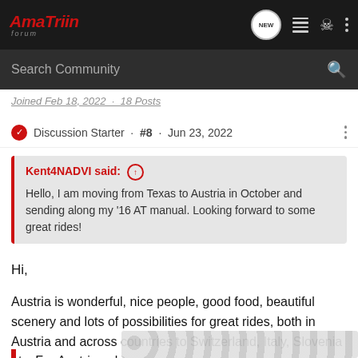AmaTriin Forum - Navigation bar with NEW, list, user, and menu icons
Search Community
Joined Feb 18, 2022 · 18 Posts
Discussion Starter · #8 · Jun 23, 2022
Kent4NADVI said: ↑
Hello, I am moving from Texas to Austria in October and sending along my '16 AT manual. Looking forward to some great rides!
Hi,
Austria is wonderful, nice people, good food, beautiful scenery and lots of possibilities for great rides, both in Austria and across countries to Switzerland, Italy, Slovenia etc. For Austria only as